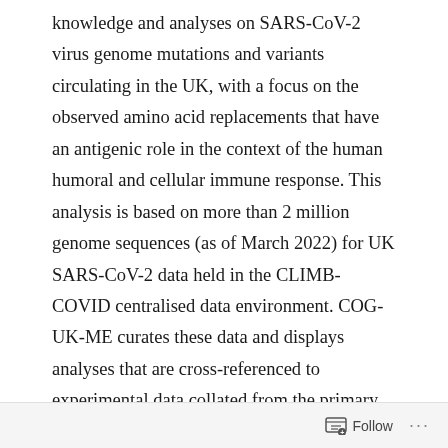knowledge and analyses on SARS-CoV-2 virus genome mutations and variants circulating in the UK, with a focus on the observed amino acid replacements that have an antigenic role in the context of the human humoral and cellular immune response. This analysis is based on more than 2 million genome sequences (as of March 2022) for UK SARS-CoV-2 data held in the CLIMB-COVID centralised data environment. COG-UK-ME curates these data and displays analyses that are cross-referenced to experimental data collated from the primary literature. The aim is to track mutations of immunological importance that are accumulating in current variants of concern and variants of interest that could alter the neutralising activity of monoclonal antibodies (mAbs),
Follow ···